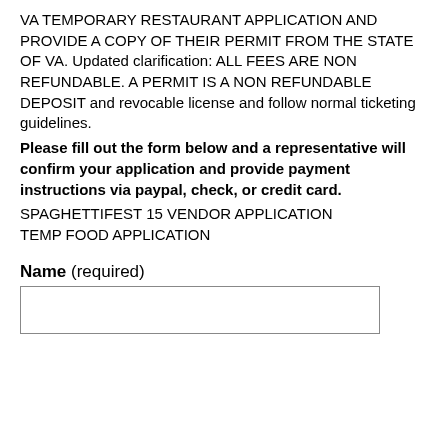VA TEMPORARY RESTAURANT APPLICATION AND PROVIDE A COPY OF THEIR PERMIT FROM THE STATE OF VA. Updated clarification: ALL FEES ARE NON REFUNDABLE. A PERMIT IS A NON REFUNDABLE DEPOSIT and revocable license and follow normal ticketing guidelines.
Please fill out the form below and a representative will confirm your application and provide payment instructions via paypal, check, or credit card.
SPAGHETTIFEST 15 VENDOR APPLICATION
TEMP FOOD APPLICATION
Name (required)